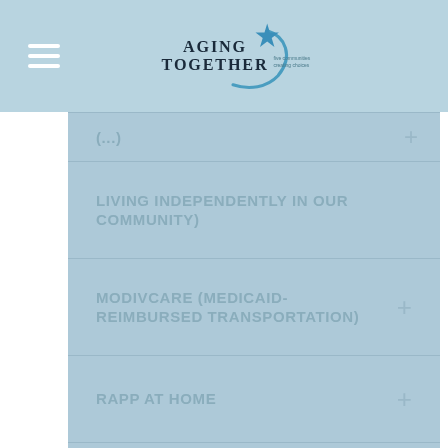Aging Together - five communities creating choices
LIVING INDEPENDENTLY IN OUR COMMUNITY)
MODIVCARE (MEDICAID-REIMBURSED TRANSPORTATION)
RAPP AT HOME
VIRGINIA REGIONAL TRANSIT
VOLTRAN